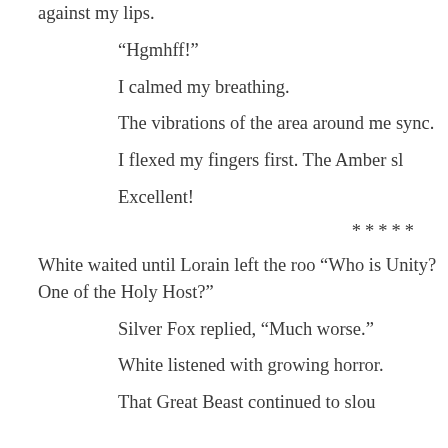against my lips.
“Hgmhff!”
I calmed my breathing.
The vibrations of the area around me sync.
I flexed my fingers first. The Amber sl
Excellent!
*****
White waited until Lorain left the roo “Who is Unity? One of the Holy Host?”
Silver Fox replied, “Much worse.”
White listened with growing horror.
That Great Beast continued to slou